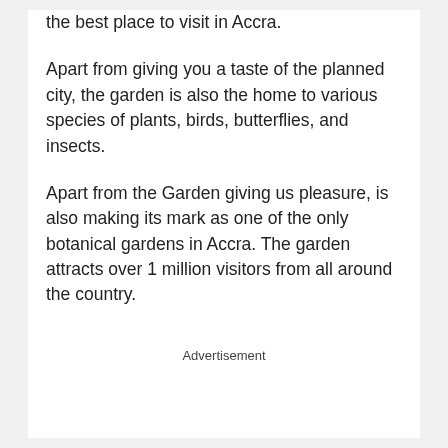the best place to visit in Accra.
Apart from giving you a taste of the planned city, the garden is also the home to various species of plants, birds, butterflies, and insects.
Apart from the Garden giving us pleasure, is also making its mark as one of the only botanical gardens in Accra. The garden attracts over 1 million visitors from all around the country.
Advertisement